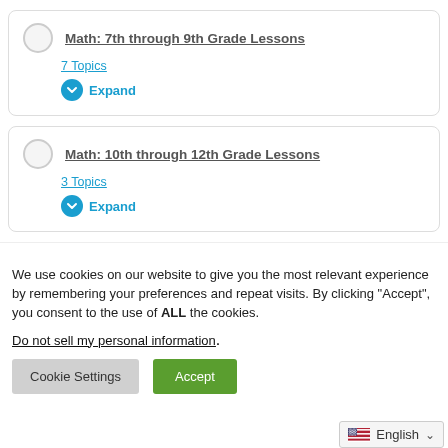Math: 7th through 9th Grade Lessons
7 Topics
Expand
Math: 10th through 12th Grade Lessons
3 Topics
Expand
We use cookies on our website to give you the most relevant experience by remembering your preferences and repeat visits. By clicking “Accept”, you consent to the use of ALL the cookies.
Do not sell my personal information.
Cookie Settings | Accept
English